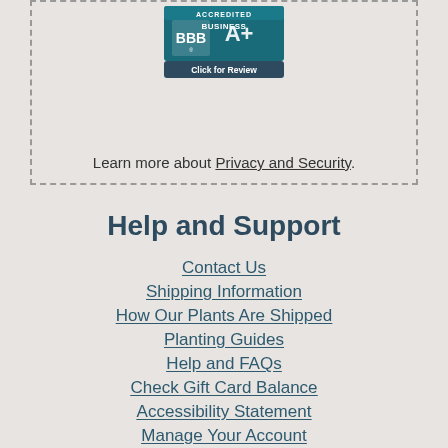[Figure (logo): BBB Accredited Business badge with 'Click for Review' text]
Learn more about Privacy and Security.
Help and Support
Contact Us
Shipping Information
How Our Plants Are Shipped
Planting Guides
Help and FAQs
Check Gift Card Balance
Accessibility Statement
Manage Your Account
Submit Your Photos
Catalog Requests
100% Guarantee
Privacy and Security
Terms & Conditions